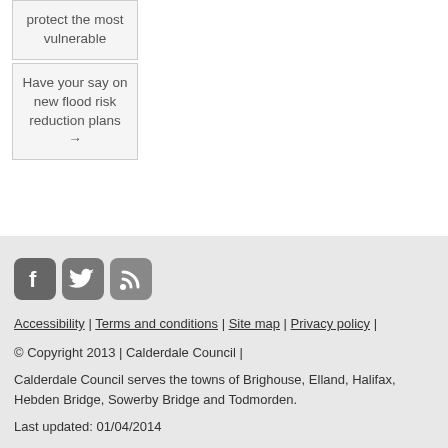protect the most vulnerable
Have your say on new flood risk reduction plans →
[Figure (illustration): Social media icons: Facebook (grey rounded square with F), Twitter (grey rounded square with bird), RSS (grey rounded square with feed icon)]
Accessibility | Terms and conditions | Site map | Privacy policy |
© Copyright 2013 | Calderdale Council |
Calderdale Council serves the towns of Brighouse, Elland, Halifax, Hebden Bridge, Sowerby Bridge and Todmorden.
Last updated: 01/04/2014